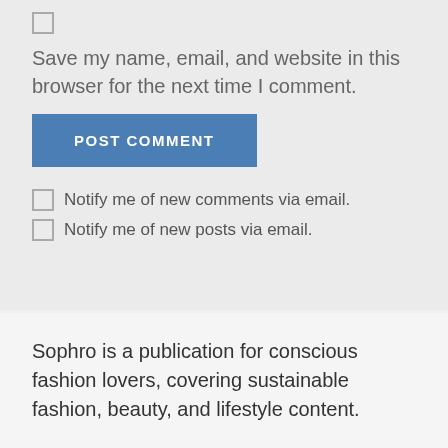Save my name, email, and website in this browser for the next time I comment.
POST COMMENT
Notify me of new comments via email.
Notify me of new posts via email.
Sophro is a publication for conscious fashion lovers, covering sustainable fashion, beauty, and lifestyle content.